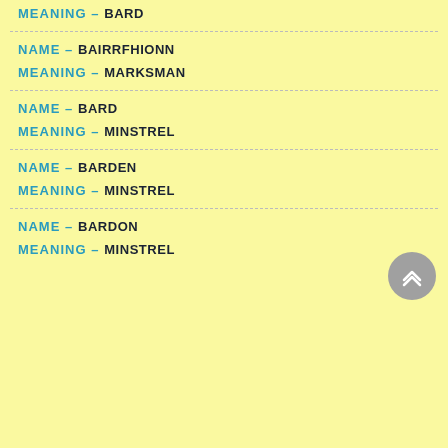MEANING – BARD
NAME – BAIRRFHIONN
MEANING – MARKSMAN
NAME – BARD
MEANING – MINSTREL
NAME – BARDEN
MEANING – MINSTREL
NAME – BARDON
MEANING – MINSTREL